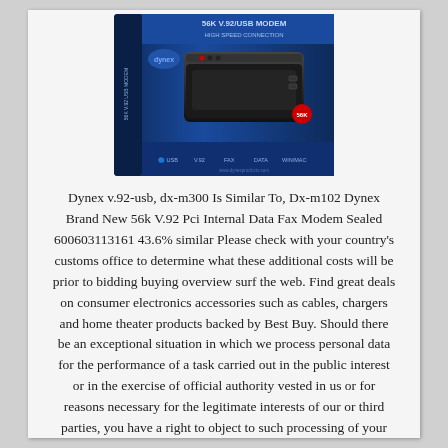[Figure (photo): Product photo of a Dynex 56K V.92/USB Modem in blue packaging box]
Dynex v.92-usb, dx-m300 Is Similar To, Dx-m102 Dynex Brand New 56k V.92 Pci Internal Data Fax Modem Sealed 600603113161 43.6% similar Please check with your country's customs office to determine what these additional costs will be prior to bidding buying overview surf the web. Find great deals on consumer electronics accessories such as cables, chargers and home theater products backed by Best Buy. Should there be an exceptional situation in which we process personal data for the performance of a task carried out in the public interest or in the exercise of official authority vested in us or for reasons necessary for the legitimate interests of our or third parties, you have a right to object to such processing of your personal data, including profiling based on these